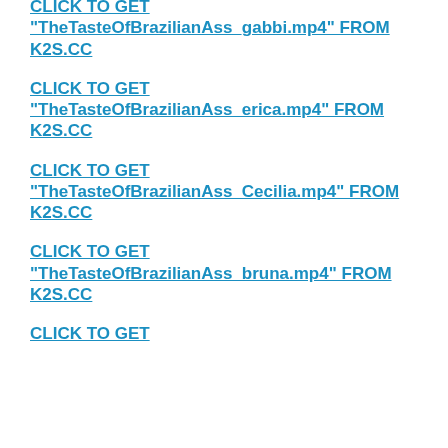CLICK TO GET "TheTasteOfBrazilianAss_gabbi.mp4" FROM K2S.CC
CLICK TO GET "TheTasteOfBrazilianAss_erica.mp4" FROM K2S.CC
CLICK TO GET "TheTasteOfBrazilianAss_Cecilia.mp4" FROM K2S.CC
CLICK TO GET "TheTasteOfBrazilianAss_bruna.mp4" FROM K2S.CC
CLICK TO GET